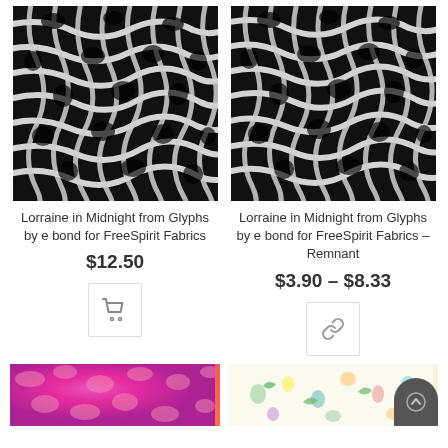[Figure (photo): Close-up black and white photo of woven fabric mesh texture - Lorraine in Midnight]
Lorraine in Midnight from Glyphs by e bond for FreeSpirit Fabrics
$12.50
[Figure (photo): Close-up black and white photo of woven fabric mesh texture - Lorraine in Midnight Remnant]
Lorraine in Midnight from Glyphs by e bond for FreeSpirit Fabrics – Remnant
$3.90 – $8.33
[Figure (photo): Bright pink/magenta fabric texture - partially visible at bottom]
[Figure (photo): Light cream/yellow fabric with floral pattern - partially visible at bottom right]